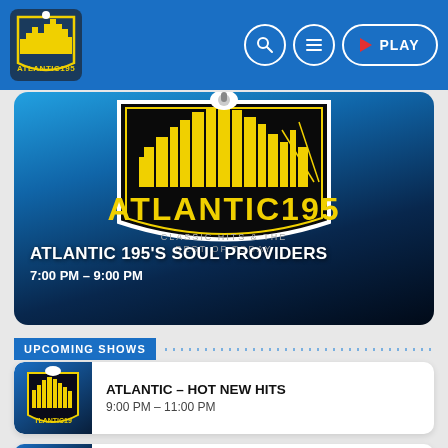Atlantic195 — PLAY
[Figure (logo): Atlantic195 radio station hero banner showing large Atlantic195 logo with cityscape silhouette in yellow/black on blue-to-dark gradient background]
ATLANTIC 195'S SOUL PROVIDERS
7:00 PM – 9:00 PM
UPCOMING SHOWS
[Figure (logo): Atlantic195 small logo badge thumbnail]
ATLANTIC – HOT NEW HITS
9:00 PM – 11:00 PM